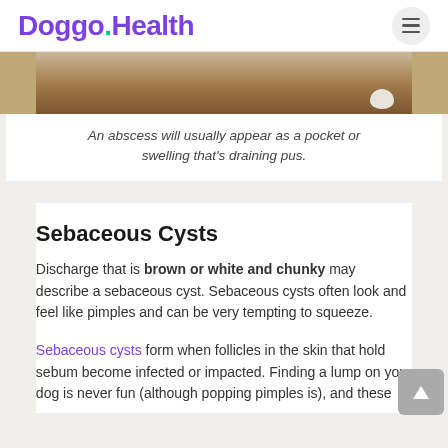Doggo.Health
[Figure (photo): Bottom portion of a dog photo on a wooden floor background]
An abscess will usually appear as a pocket or swelling that's draining pus.
Sebaceous Cysts
Discharge that is brown or white and chunky may describe a sebaceous cyst. Sebaceous cysts often look and feel like pimples and can be very tempting to squeeze.
Sebaceous cysts form when follicles in the skin that hold sebum become infected or impacted. Finding a lump on your dog is never fun (although popping pimples is), and these